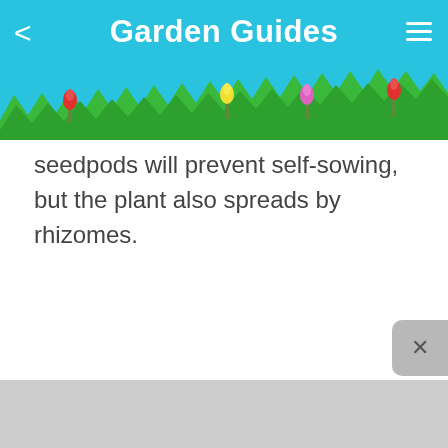Garden Guides
seedpods will prevent self-sowing, but the plant also spreads by rhizomes.